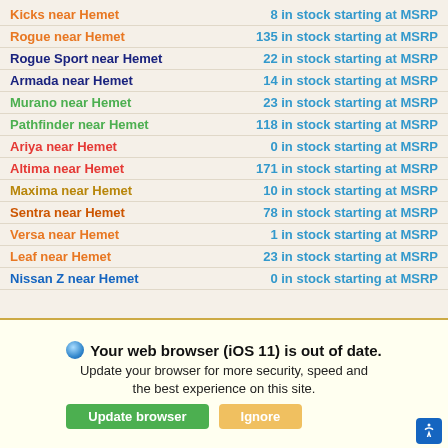Kicks near Hemet — 8 in stock starting at MSRP
Rogue near Hemet — 135 in stock starting at MSRP
Rogue Sport near Hemet — 22 in stock starting at MSRP
Armada near Hemet — 14 in stock starting at MSRP
Murano near Hemet — 23 in stock starting at MSRP
Pathfinder near Hemet — 118 in stock starting at MSRP
Ariya near Hemet — 0 in stock starting at MSRP
Altima near Hemet — 171 in stock starting at MSRP
Maxima near Hemet — 10 in stock starting at MSRP
Sentra near Hemet — 78 in stock starting at MSRP
Versa near Hemet — 1 in stock starting at MSRP
Leaf near Hemet — 23 in stock starting at MSRP
Nissan Z near Hemet — 0 in stock starting at MSRP
Your web browser (iOS 11) is out of date. Update your browser for more security, speed and the best experience on this site.